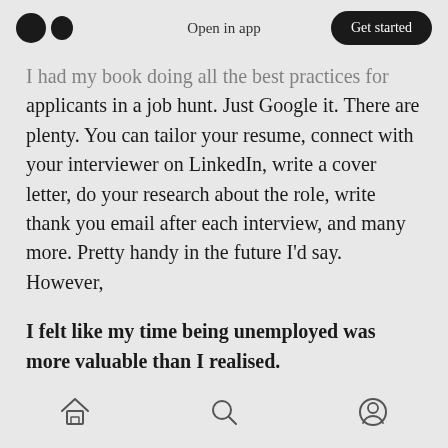Open in app | Get started
...I had my book doing all the best practices for applicants in a job hunt. Just Google it. There are plenty. You can tailor your resume, connect with your interviewer on LinkedIn, write a cover letter, do your research about the role, write thank you email after each interview, and many more. Pretty handy in the future I'd say. However,
I felt like my time being unemployed was more valuable than I realised.
It was during that time I had the time to pick up life skills and mental models that I'm glad I did. I picked up on the importance of personal finance,
Home | Search | Profile